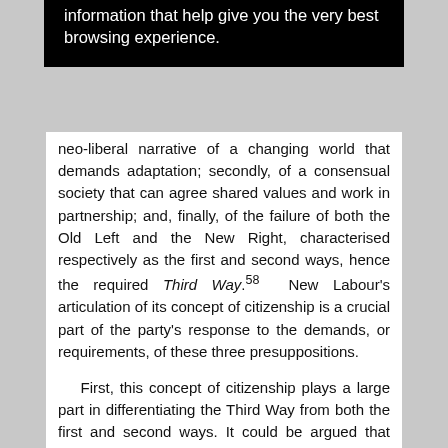information that help give you the very best browsing experience.
neo-liberal narrative of a changing world that demands adaptation; secondly, of a consensual society that can agree shared values and work in partnership; and, finally, of the failure of both the Old Left and the New Right, characterised respectively as the first and second ways, hence the required Third Way.58 New Labour's articulation of its concept of citizenship is a crucial part of the party's response to the demands, or requirements, of these three presuppositions.
First, this concept of citizenship plays a large part in differentiating the Third Way from both the first and second ways. It could be argued that New Labour's embracing of the